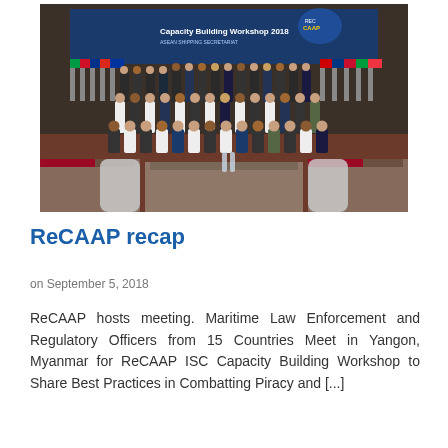[Figure (photo): Group photo of participants at ReCAAP ISC Capacity Building Workshop 2018 in Yangon, Myanmar. A large group of approximately 60 people seated and standing in rows inside a conference hall, with colorful national flags displayed behind them and a banner reading 'Capacity Building Workshop 2018'.]
ReCAAP recap
on September 5, 2018
ReCAAP hosts meeting. Maritime Law Enforcement and Regulatory Officers from 15 Countries Meet in Yangon, Myanmar for ReCAAP ISC Capacity Building Workshop to Share Best Practices in Combatting Piracy and [...]